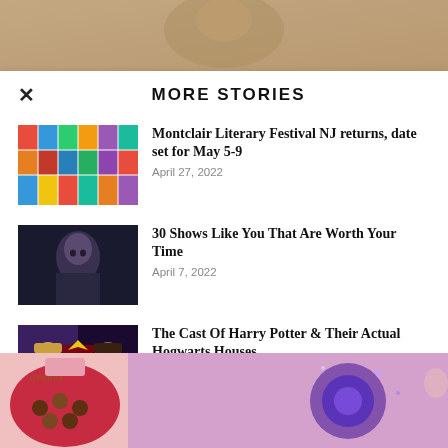[Figure (photo): Partial background image at top, brownish/tan tones]
MORE STORIES
[Figure (photo): Colorful collage of book covers for Montclair Literary Festival story]
Montclair Literary Festival NJ returns, date set for May 5-9
April 27, 2022
[Figure (photo): Dark portrait of a man, moody lighting, for '30 Shows Like You That Are Worth Your Time']
30 Shows Like You That Are Worth Your Time
April 7, 2022
[Figure (photo): Two male actors with Harry Potter Hogwarts imagery]
The Cast Of Harry Potter & Their Actual Hogwarts Houses
February 3, 2022
[Figure (photo): Bottom left: Godiva chocolate heart box on pink background]
[Figure (photo): Bottom right: purple/blue cosmic rose or galaxy flower on pink background]